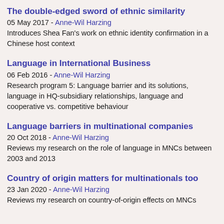The double-edged sword of ethnic similarity
05 May 2017 - Anne-Wil Harzing
Introduces Shea Fan's work on ethnic identity confirmation in a Chinese host context
Language in International Business
06 Feb 2016 - Anne-Wil Harzing
Research program 5: Language barrier and its solutions, language in HQ-subsidiary relationships, language and cooperative vs. competitive behaviour
Language barriers in multinational companies
20 Oct 2018 - Anne-Wil Harzing
Reviews my research on the role of language in MNCs between 2003 and 2013
Country of origin matters for multinationals too
23 Jan 2020 - Anne-Wil Harzing
Reviews my research on country-of-origin effects on MNCs